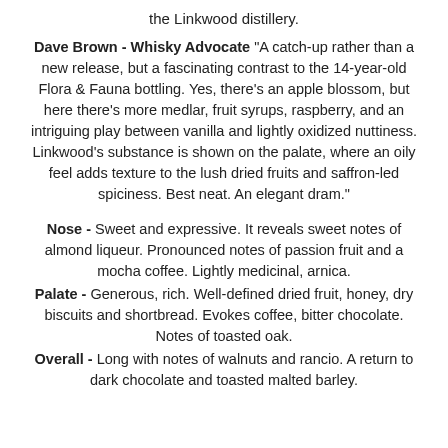the Linkwood distillery.
Dave Brown - Whisky Advocate "A catch-up rather than a new release, but a fascinating contrast to the 14-year-old Flora & Fauna bottling. Yes, there's an apple blossom, but here there's more medlar, fruit syrups, raspberry, and an intriguing play between vanilla and lightly oxidized nuttiness. Linkwood's substance is shown on the palate, where an oily feel adds texture to the lush dried fruits and saffron-led spiciness. Best neat. An elegant dram."
Nose - Sweet and expressive. It reveals sweet notes of almond liqueur. Pronounced notes of passion fruit and a mocha coffee. Lightly medicinal, arnica.
Palate - Generous, rich. Well-defined dried fruit, honey, dry biscuits and shortbread. Evokes coffee, bitter chocolate. Notes of toasted oak.
Overall - Long with notes of walnuts and rancio. A return to dark chocolate and toasted malted barley.